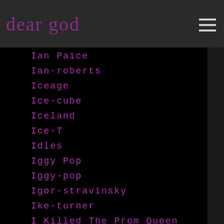dear god
Ian Paice
Ian-roberts
Iceage
Ice-cube
Iceland
Ice-T
Idles
Iggy Pop
Iggy-pop
Igor-stravinsky
Ike-turner
I Killed The Prom Queen
Illustrators
Image-comics
Immanuel-kant
Immolation
Immortal